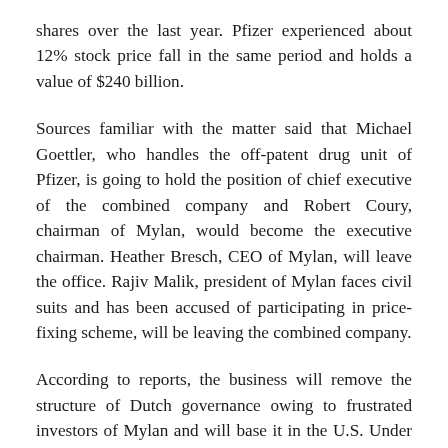shares over the last year. Pfizer experienced about 12% stock price fall in the same period and holds a value of $240 billion.
Sources familiar with the matter said that Michael Goettler, who handles the off-patent drug unit of Pfizer, is going to hold the position of chief executive of the combined company and Robert Coury, chairman of Mylan, would become the executive chairman. Heather Bresch, CEO of Mylan, will leave the office. Rajiv Malik, president of Mylan faces civil suits and has been accused of participating in price-fixing scheme, will be leaving the combined company.
According to reports, the business will remove the structure of Dutch governance owing to frustrated investors of Mylan and will base it in the U.S. Under the potential deal, the new combined company will be refinancing debt held by Mylan and the Pfizer subsidiary.